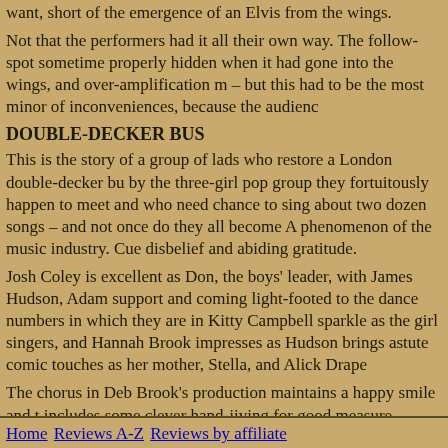want, short of the emergence of an Elvis from the wings.
Not that the performers had it all their own way. The follow-spot sometime properly hidden when it had gone into the wings, and over-amplification m – but this had to be the most minor of inconveniences, because the audienc
DOUBLE-DECKER BUS
This is the story of a group of lads who restore a London double-decker bu by the three-girl pop group they fortuitously happen to meet and who need chance to sing about two dozen songs – and not once do they all become A phenomenon of the music industry. Cue disbelief and abiding gratitude.
Josh Coley is excellent as Don, the boys' leader, with James Hudson, Adam support and coming light-footed to the dance numbers in which they are in Kitty Campbell sparkle as the girl singers, and Hannah Brook impresses as Hudson brings astute comic touches as her mother, Stella, and Alick Drape
The chorus in Deb Brook's production maintains a happy smile and t includes some clever hand-jiving for good measure. Musical directio
This is not a show that lends itself to colour and spectacle, though these are sound is always impressive. And it has a delightful trick up its sleeve in the special cheer they received as they made their remote-controlled way acros
John Slim
http://www.youthonstage.org/
Box Office: 0121 474 2104 judy_malachi@hotmail.co.uk
Home | Reviews A-Z | Reviews by affiliate